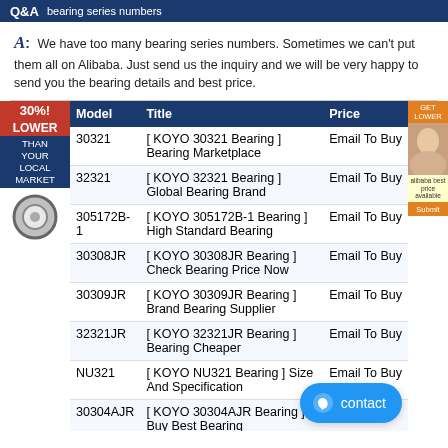Q&A bearing series numbers
A: We have too many bearing series numbers. Sometimes we can't put them all on Alibaba. Just send us the inquiry and we will be very happy to send you the bearing details and best price.
| Model | Title | Price |
| --- | --- | --- |
| 30321 | [ KOYO 30321 Bearing ] Bearing Marketplace | Email To Buy |
| 32321 | [ KOYO 32321 Bearing ] Global Bearing Brand | Email To Buy |
| 305172B-1 | [ KOYO 305172B-1 Bearing ] High Standard Bearing | Email To Buy |
| 30308JR | [ KOYO 30308JR Bearing ] Check Bearing Price Now | Email To Buy |
| 30309JR | [ KOYO 30309JR Bearing ] Brand Bearing Supplier | Email To Buy |
| 32321JR | [ KOYO 32321JR Bearing ] Bearing Cheaper | Email To Buy |
| NU321 | [ KOYO NU321 Bearing ] Size And Specification | Email To Buy |
| 30304AJR | [ KOYO 30304AJR Bearing ] Buy Best Bearing | Email To Buy |